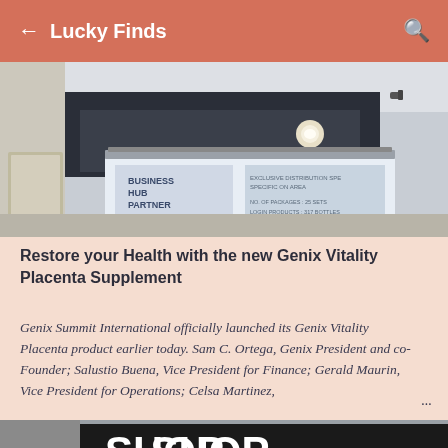Lucky Finds
[Figure (photo): Interior photo of a room with dropped ceiling, recessed lighting, and a projection screen displaying 'BUSINESS HUB PARTNER' presentation slide with text about exclusive distribution and packages/products.]
Restore your Health with the new Genix Vitality Placenta Supplement
Genix Summit International officially launched its Genix Vitality Placenta product earlier today. Sam C. Ortega, Genix President and co-Founder; Salustio Buena, Vice President for Finance; Gerald Maurin, Vice President for Operations; Celsa Martinez, ...
[Figure (photo): Partial view of a shop sign showing text ending in 'SHOP' in large white letters on dark background.]